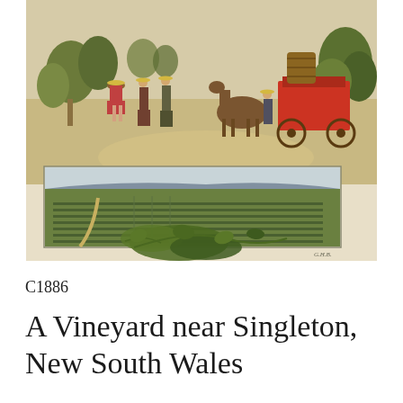[Figure (illustration): A historical illustration circa 1886 showing two scenes: the upper scene depicts vineyard workers harvesting grapes with a horse-drawn cart loaded with barrels, people in period clothing picking fruit among trees; the lower inset panel shows a wide panoramic landscape view of a vineyard near Singleton, New South Wales, with rows of vines stretching into the distance under a pale sky with distant hills.]
C1886
A Vineyard near Singleton, New South Wales